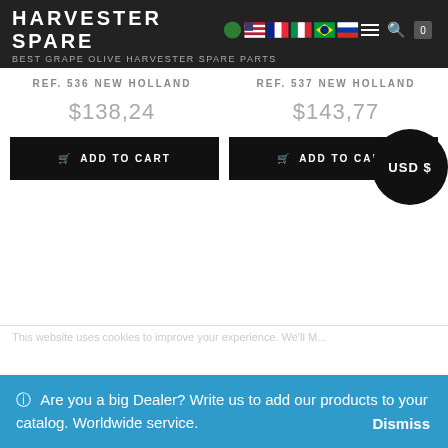HARVESTER SPARES — BEST GRAPE OLIVE HARVESTER SPARE PARTS
REF. 536 NEW HOLLAND
REF. 537 NEW HOLLAND
$138,24
$143,77
ADD TO CART
ADD TO CART
USD $
Are you a big Dealer? Write us to add our products to your catalog. Worldwide service.
Dismiss